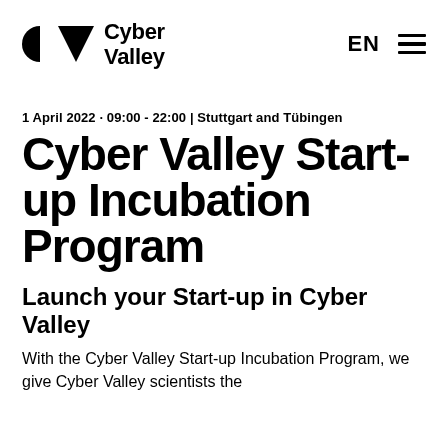[Figure (logo): Cyber Valley logo: black circle and triangle shapes on the left, 'Cyber Valley' bold text on the right]
EN ≡
1 April 2022 · 09:00 - 22:00 | Stuttgart and Tübingen
Cyber Valley Start-up Incubation Program
Launch your Start-up in Cyber Valley
With the Cyber Valley Start-up Incubation Program, we give Cyber Valley scientists the